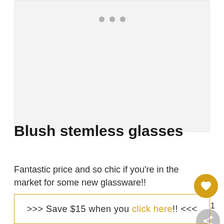[Figure (photo): Light gray image placeholder area with three small gray dots at the top center, representing a product image carousel for blush stemless glasses]
Blush stemless glasses
Fantastic price and so chic if you're in the market for some new glassware!!
>>> Save $15 when you click here!! <<<